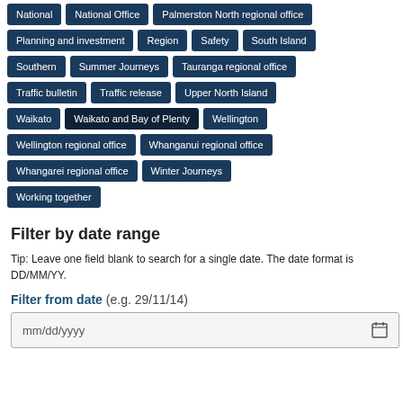National
National Office
Palmerston North regional office
Planning and investment
Region
Safety
South Island
Southern
Summer Journeys
Tauranga regional office
Traffic bulletin
Traffic release
Upper North Island
Waikato
Waikato and Bay of Plenty
Wellington
Wellington regional office
Whanganui regional office
Whangarei regional office
Winter Journeys
Working together
Filter by date range
Tip: Leave one field blank to search for a single date. The date format is DD/MM/YY.
Filter from date (e.g. 29/11/14)